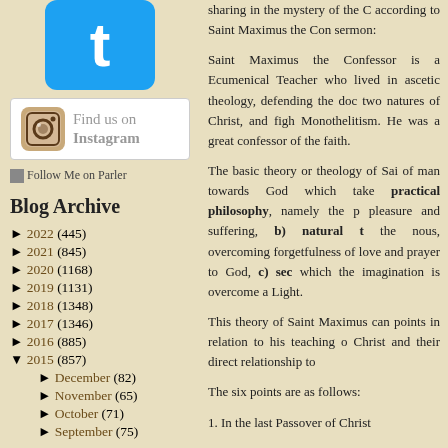[Figure (logo): Twitter logo button - blue rounded square with white 't' letter]
[Figure (logo): Instagram logo with camera icon, text 'Find us on Instagram']
Follow Me on Parler
Blog Archive
► 2022 (445)
► 2021 (845)
► 2020 (1168)
► 2019 (1131)
► 2018 (1348)
► 2017 (1346)
► 2016 (885)
▼ 2015 (857)
► December (82)
► November (65)
► October (71)
► September (75)
sharing in the mystery of the C according to Saint Maximus the Con sermon:
Saint Maximus the Confessor is a Ecumenical Teacher who lived in ascetic theology, defending the doc two natures of Christ, and figh Monothelitism. He was a great confessor of the faith.
The basic theory or theology of Sai of man towards God which take practical philosophy, namely the p pleasure and suffering, b) natural t the nous, overcoming forgetfulness of love and prayer to God, c) sec which the imagination is overcome a Light.
This theory of Saint Maximus can points in relation to his teaching o Christ and their direct relationship to
The six points are as follows:
1. In the last Passover of Christ